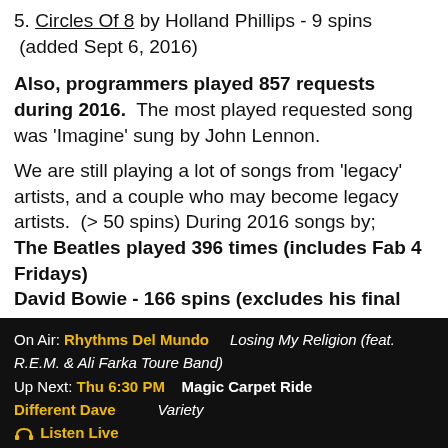5. Circles Of 8 by Holland Phillips - 9 spins  (added Sept 6, 2016)
Also, programmers played 857 requests during 2016.  The most played requested song was 'Imagine' sung by John Lennon.
We are still playing a lot of songs from 'legacy' artists, and a couple who may become legacy artists.  (> 50 spins) During 2016 songs by; The Beatles played 396 times (includes Fab 4 Fridays) David Bowie - 166 spins (excludes his final new release)**
On Air: Rhythms Del Mundo   Losing My Religion (feat. R.E.M. & Ali Farka Toure Band)
Up Next: Thu 6:30 PM   Magic Carpet Ride
Different Dave      Variety
🎧 Listen Live